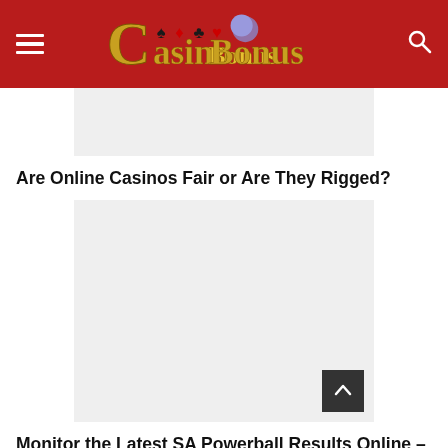Casino Bonus
[Figure (other): Gray placeholder image thumbnail]
Are Online Casinos Fair or Are They Rigged?
[Figure (other): Large gray placeholder image with back-to-top button]
Monitor the Latest SA Powerball Results Online – Play